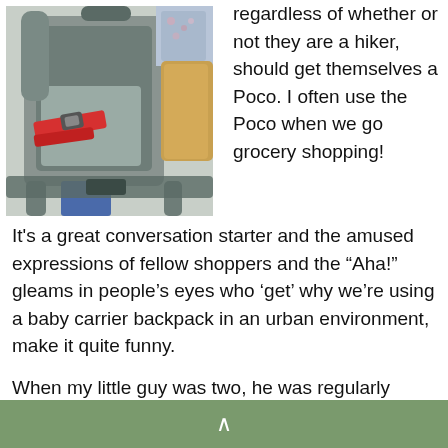[Figure (photo): Close-up photo of a grey baby carrier backpack (Poco) with red straps/buckle, with a person visible in the background]
regardless of whether or not they are a hiker, should get themselves a Poco. I often use the Poco when we go grocery shopping! It's a great conversation starter and the amused expressions of fellow shoppers and the “Aha!” gleams in people’s eyes who ‘get’ why we’re using a baby carrier backpack in an urban environment, make it quite funny.
When my little guy was two, he was regularly doing a Houdini from his pram, easily escaping its straps and jumping out, stationary or not. In a safe, escape is followed
∧